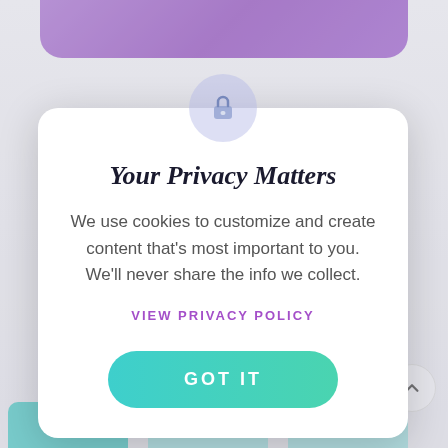[Figure (screenshot): App background with purple top bar and 'SEARCH BY CATEG...' label]
Your Privacy Matters
We use cookies to customize and create content that's most important to you. We'll never share the info we collect.
VIEW PRIVACY POLICY
GOT IT